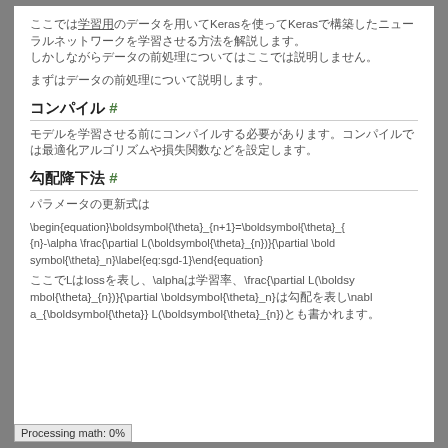ここでは学習用のデータを用いてKerasを使ってKerasで構築したニューラルネットワークを学習させる方法を解説します。
まずはデータの前処理について説明します。
コンパイル #
モデルを学習させる前にコンパイルする必要があります。コンパイルでは最適化アルゴリズムや損失関数などを設定します。
勾配降下法 #
パラメータの更新式は
ここでLはlossを表し、\alphaは学習率、\frac{\partial L(\boldsymbol{\theta}_{n})}{\partial \boldsymbol{\theta}_n}は勾配を表し\nabla_{\boldsymbol{\theta}} L(\boldsymbol{\theta}_{n})とも書かれます。